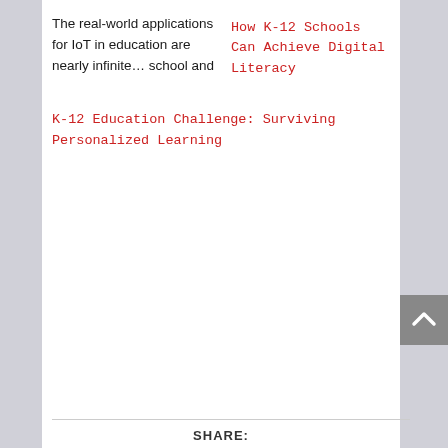The real-world applications for IoT in education are nearly infinite… school and
How K-12 Schools Can Achieve Digital Literacy
K-12 Education Challenge: Surviving Personalized Learning
SHARE: